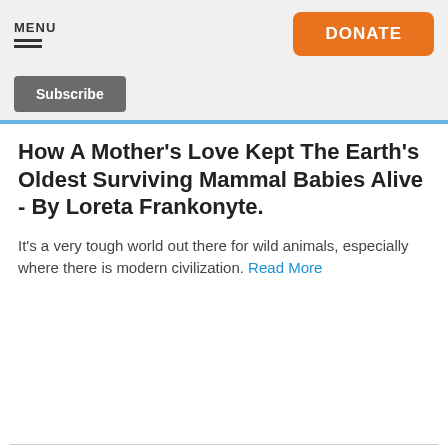MENU | DONATE
Subscribe
How A Mother's Love Kept The Earth's Oldest Surviving Mammal Babies Alive - By Loreta Frankonyte.
It's a very tough world out there for wild animals, especially where there is modern civilization. Read More
[Figure (screenshot): Video thumbnail showing text: 'ss Labrador mom tried to trick us, but we found all her puppies!!! Please share' with an inset circle image of white puppies]